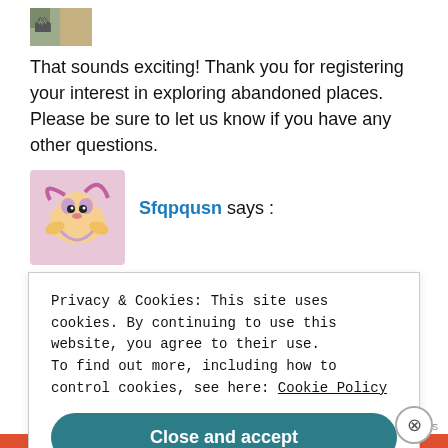[Figure (photo): Small avatar image at top, appears to show a person or character outdoors]
That sounds exciting! Thank you for registering your interest in exploring abandoned places. Please be sure to let us know if you have any other questions.
[Figure (photo): Avatar of cartoon pony character with pink/purple hair and wings (My Little Pony style)]
Sfqpqusn says :
Got it, so you’re interested in exploring abandoned places? We strive to take you places you never thought
Privacy & Cookies: This site uses cookies. By continuing to use this website, you agree to their use.
To find out more, including how to control cookies, see here: Cookie Policy
Close and accept